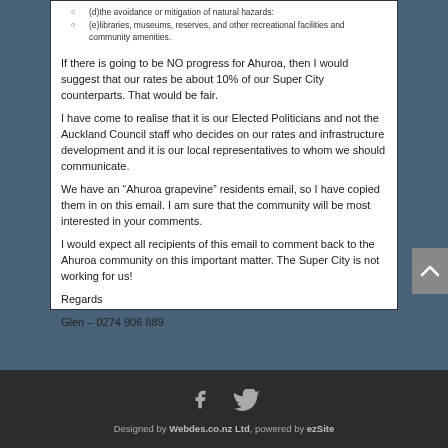(d)the avoidance or mitigation of natural hazards:
(e)libraries, museums, reserves, and other recreational facilities and community amenities.
If there is going to be NO progress for Ahuroa, then I would suggest that our rates be about 10% of our Super City counterparts. That would be fair.
I have come to realise that it is our Elected Politicians and not the Auckland Council staff who decides on our rates and infrastructure development and it is our local representatives to whom we should communicate.
We have an “Ahuroa grapevine” residents email, so I have copied them in on this email. I am sure that the community will be most interested in your comments.
I would expect all recipients of this email to comment back to the Ahuroa community on this important matter. The Super City is not working for us!
Regards
Glen – 0274 906 889
Designed by Webdes.co.nz Ltd, powered by ezSite